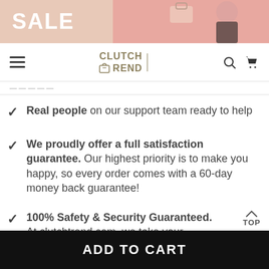[Figure (photo): Pink sale banner with woman and handbag]
CLUTCH REND — navigation bar with hamburger menu, search, and cart icons
Real people on our support team ready to help
We proudly offer a full satisfaction guarantee. Our highest priority is to make you happy, so every order comes with a 60-day money back guarantee!
100% Safety & Security Guaranteed. At clutchtrend.com, we take your security and privacy very seriously. Shop safely using the world's most popular and trustworthy payment methods!
ADD TO CART